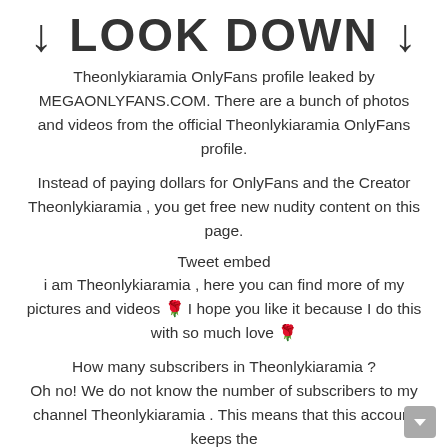↓ LOOK DOWN ↓
Theonlykiaramia OnlyFans profile leaked by MEGAONLYFANS.COM. There are a bunch of photos and videos from the official Theonlykiaramia OnlyFans profile.
Instead of paying dollars for OnlyFans and the Creator Theonlykiaramia , you get free new nudity content on this page.
Tweet embed
i am Theonlykiaramia , here you can find more of my pictures and videos 🌹 I hope you like it because I do this with so much love 🌹
How many subscribers in Theonlykiaramia ?
Oh no! We do not know the number of subscribers to my channel Theonlykiaramia . This means that this account keeps the